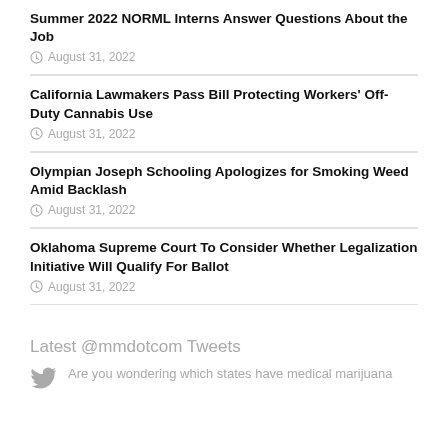Summer 2022 NORML Interns Answer Questions About the Job
August 31, 2022
California Lawmakers Pass Bill Protecting Workers' Off-Duty Cannabis Use
August 31, 2022
Olympian Joseph Schooling Apologizes for Smoking Weed Amid Backlash
August 31, 2022
Oklahoma Supreme Court To Consider Whether Legalization Initiative Will Qualify For Ballot
August 31, 2022
Latest @mmdotcom Tweets
Are you wondering which states have medical marijuana